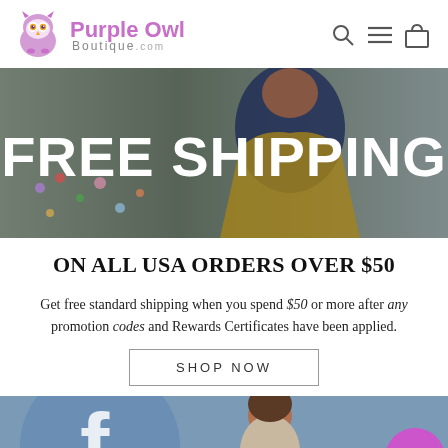[Figure (logo): Purple Owl Boutique logo with purple owl icon and text 'Purple Owl Boutique.com']
[Figure (photo): Banner image showing person with confetti with large white text 'FREE SHIPPING' overlaid]
ON ALL USA ORDERS OVER $50
Get free standard shipping when you spend $50 or more after any promotion codes and Rewards Certificates have been applied.
SHOP NOW
[Figure (screenshot): Bottom strip showing Facebook logo on blue-grey background with a woman, and a purple gift/reward button in the bottom right corner]